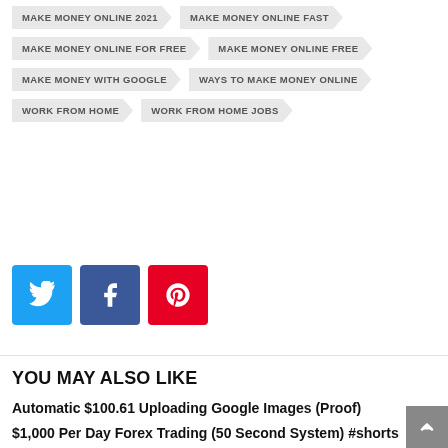MAKE MONEY ONLINE 2021
MAKE MONEY ONLINE FAST
MAKE MONEY ONLINE FOR FREE
MAKE MONEY ONLINE FREE
MAKE MONEY WITH GOOGLE
WAYS TO MAKE MONEY ONLINE
WORK FROM HOME
WORK FROM HOME JOBS
[Figure (infographic): Social share buttons: Twitter (blue), Facebook (dark blue), Pinterest (red)]
YOU MAY ALSO LIKE
Automatic $100.61 Uploading Google Images (Proof)
$1,000 Per Day Forex Trading (50 Second System) #shorts
Hands Off Tech Team To Jump Start Your Online Business (Must Be Over The Age of 40)